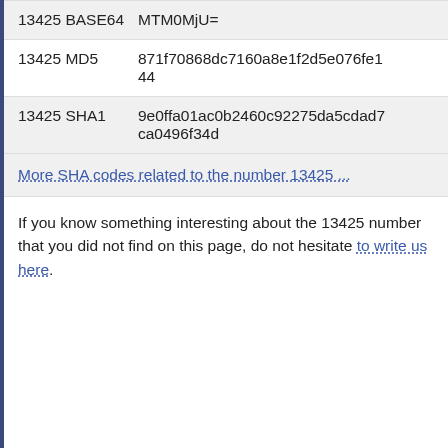| Label | Value |
| --- | --- |
| 13425 BASE64 | MTM0MjU= |
| 13425 MD5 | 871f70868dc7160a8e1f2d5e076fe144 |
| 13425 SHA1 | 9e0ffa01ac0b2460c92275da5cdad7ca0496f34d |
More SHA codes related to the number 13425 ...
If you know something interesting about the 13425 number that you did not find on this page, do not hesitate to write us here.